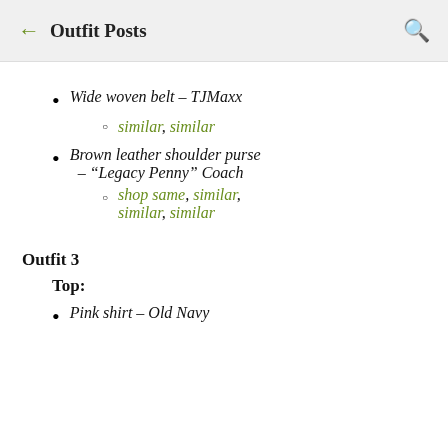← Outfit Posts 🔍
Wide woven belt – TJMaxx
similar, similar
Brown leather shoulder purse – "Legacy Penny" Coach
shop same, similar, similar, similar
Outfit 3
Top:
Pink shirt – Old Navy